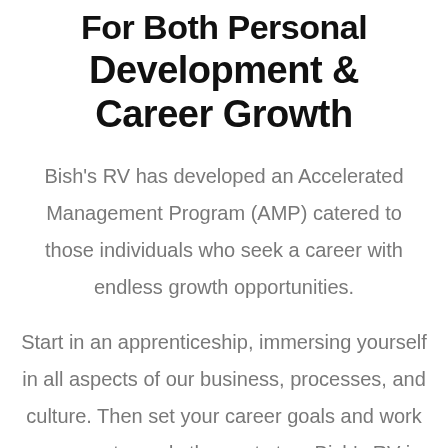For Both Personal Development & Career Growth
Bish's RV has developed an Accelerated Management Program (AMP) catered to those individuals who seek a career with endless growth opportunities.
Start in an apprenticeship, immersing yourself in all aspects of our business, processes, and culture. Then set your career goals and work your way towards the next step. Bish's RV is growing at a rapid rate and new job openings within our company are